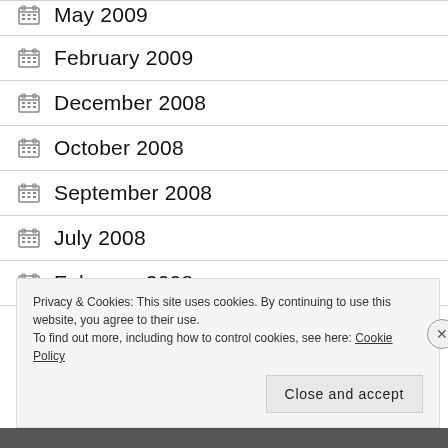May 2009
February 2009
December 2008
October 2008
September 2008
July 2008
February 2008
Privacy & Cookies: This site uses cookies. By continuing to use this website, you agree to their use.
To find out more, including how to control cookies, see here: Cookie Policy
Close and accept